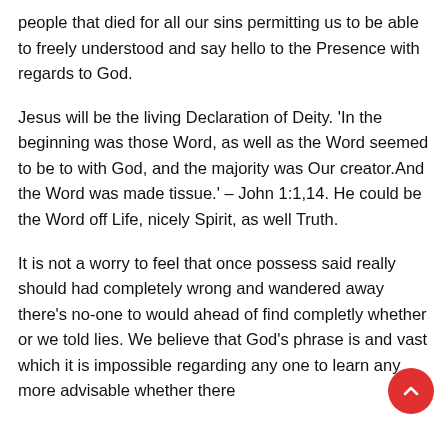people that died for all our sins permitting us to be able to freely understood and say hello to the Presence with regards to God.
Jesus will be the living Declaration of Deity. 'In the beginning was those Word, as well as the Word seemed to be to with God, and the majority was Our creator.And the Word was made tissue.' – John 1:1,14. He could be the Word off Life, nicely Spirit, as well Truth.
It is not a worry to feel that once possess said really should had completely wrong and wandered away there's no-one to would ahead of find completly whether or we told lies. We believe that God's phrase is and vast which it is impossible regarding any one to learn any more advisable whether there